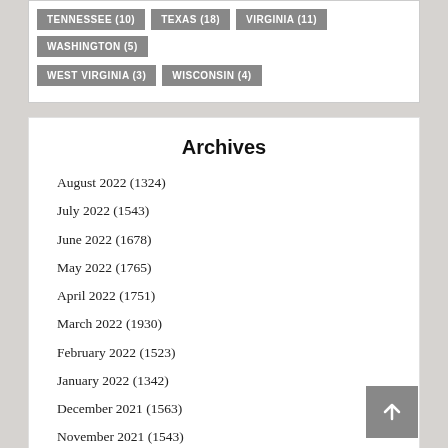TENNESSEE (10)
TEXAS (18)
VIRGINIA (11)
WASHINGTON (5)
WEST VIRGINIA (3)
WISCONSIN (4)
Archives
August 2022 (1324)
July 2022 (1543)
June 2022 (1678)
May 2022 (1765)
April 2022 (1751)
March 2022 (1930)
February 2022 (1523)
January 2022 (1342)
December 2021 (1563)
November 2021 (1543)